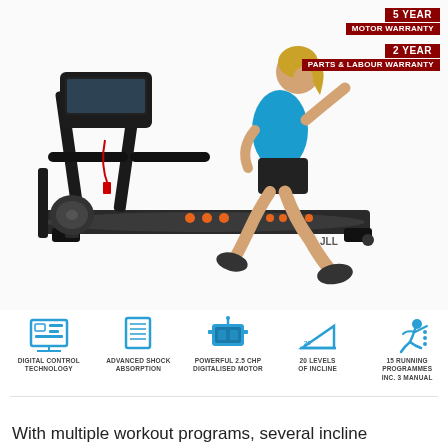[Figure (photo): Woman running on a JLL treadmill (black, with orange buttons) on a white background]
5 YEAR
MOTOR WARRANTY
2 YEAR
PARTS & LABOUR WARRANTY
[Figure (infographic): Five feature icons in a row: Digital Control Technology, Advanced Shock Absorption, Powerful 2.5 CHP Digitalised Motor, 20 Levels of Incline, 15 Running Programmes Inc. 3 Manual]
With multiple workout programs, several incline